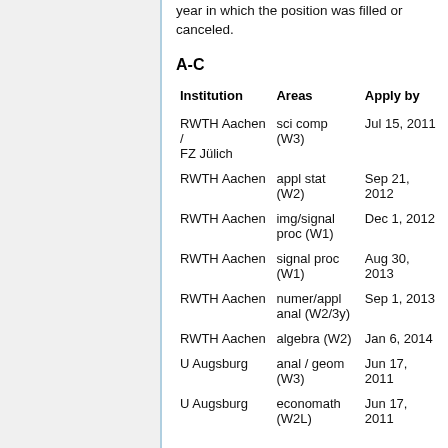year in which the position was filled or canceled.
A-C
| Institution | Areas | Apply by |
| --- | --- | --- |
| RWTH Aachen / FZ Jülich | sci comp (W3) | Jul 15, 2011 |
| RWTH Aachen | appl stat (W2) | Sep 21, 2012 |
| RWTH Aachen | img/signal proc (W1) | Dec 1, 2012 |
| RWTH Aachen | signal proc (W1) | Aug 30, 2013 |
| RWTH Aachen | numer/appl anal (W2/3y) | Sep 1, 2013 |
| RWTH Aachen | algebra (W2) | Jan 6, 2014 |
| U Augsburg | anal / geom (W3) | Jun 17, 2011 |
| U Augsburg | economath (W2L) | Jun 17, 2011 |